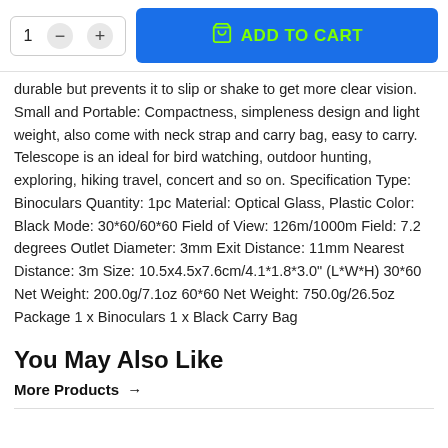durable but prevents it to slip or shake to get more clear vision. Small and Portable: Compactness, simpleness design and light weight, also come with neck strap and carry bag, easy to carry. Telescope is an ideal for bird watching, outdoor hunting, exploring, hiking travel, concert and so on. Specification Type: Binoculars Quantity: 1pc Material: Optical Glass, Plastic Color: Black Mode: 30*60/60*60 Field of View: 126m/1000m Field: 7.2 degrees Outlet Diameter: 3mm Exit Distance: 11mm Nearest Distance: 3m Size: 10.5x4.5x7.6cm/4.1*1.8*3.0" (L*W*H) 30*60 Net Weight: 200.0g/7.1oz 60*60 Net Weight: 750.0g/26.5oz Package 1 x Binoculars 1 x Black Carry Bag
You May Also Like
More Products →